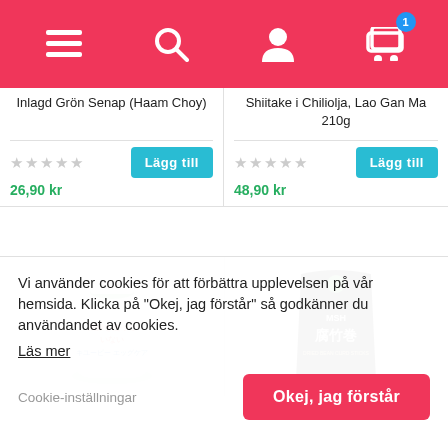[Figure (screenshot): Mobile app navigation bar with hamburger menu, search icon, user icon, and shopping cart icon with badge showing 1]
Inlagd Grön Senap (Haam Choy)
Shiitake i Chiliolja, Lao Gan Ma 210g
26,90 kr
48,90 kr
[Figure (photo): Japanese Kewpie mayo product in green packaging]
[Figure (photo): Black bag of MSH dried bean curd sticks with Chinese characters 腐竹卷]
Vi använder cookies för att förbättra upplevelsen på vår hemsida. Klicka på "Okej, jag förstår" så godkänner du användandet av cookies.
Läs mer
Cookie-inställningar
Okej, jag förstår